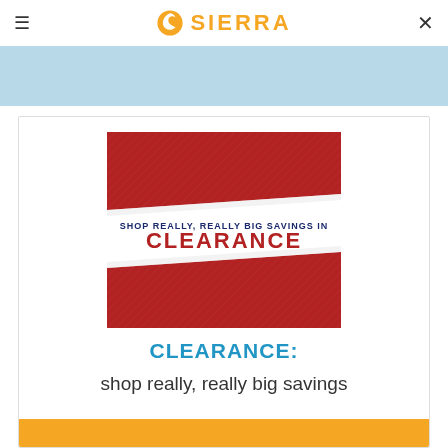SIERRA
[Figure (illustration): Red clearance promotional banner image with text 'SHOP REALLY, REALLY BIG SAVINGS IN CLEARANCE' on a white diagonal stripe across a red textured background]
CLEARANCE:
shop really, really big savings